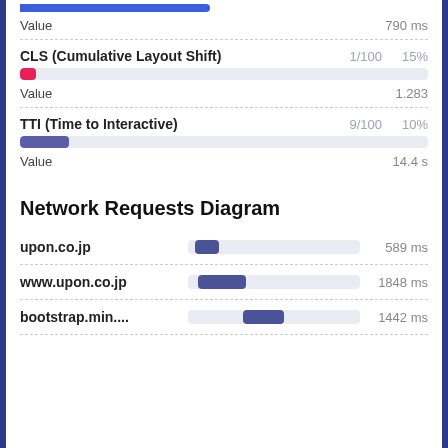[Figure (bar-chart): Blue progress bar at top, partially filled]
Value   790 ms
CLS (Cumulative Layout Shift)   1/100   15%
[Figure (bar-chart): Red/pink small progress bar for CLS]
Value   1.283
TTI (Time to Interactive)   9/100   10%
[Figure (bar-chart): Purple/blue small progress bar for TTI]
Value   14.4 s
Network Requests Diagram
upon.co.jp   589 ms
www.upon.co.jp   1848 ms
bootstrap.min....   1442 ms